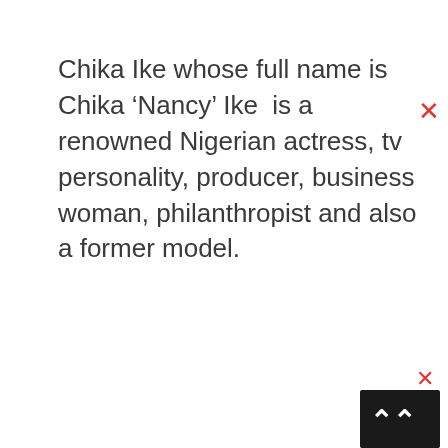Chika Ike whose full name is Chika ‘Nancy’ Ike  is a renowned Nigerian actress, tv personality, producer, business woman, philanthropist and also a former model.
[Figure (other): Red X close button at top right]
[Figure (other): Dark navigation bar at bottom right with upward chevron arrows and red X close button]